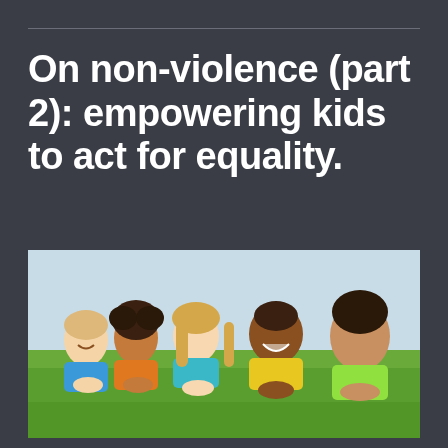On non-violence (part 2): empowering kids to act for equality.
[Figure (photo): A diverse group of smiling children lying on grass side by side, looking at the camera. They are wearing colorful shirts (blue, orange, teal, yellow, green). The group includes children of different ethnicities.]